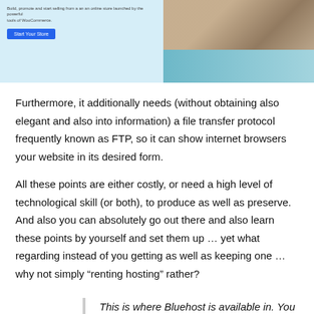[Figure (screenshot): Screenshot of a WooCommerce website builder page showing promotional text on the left with a blue 'Start Your Store' button, and a photo of a person working at a desk on the right.]
Furthermore, it additionally needs (without obtaining also elegant and also into information) a file transfer protocol frequently known as FTP, so it can show internet browsers your website in its desired form.
All these points are either costly, or need a high level of technological skill (or both), to produce as well as preserve. And also you can absolutely go out there and also learn these points by yourself and set them up … yet what regarding instead of you getting as well as keeping one … why not simply “renting hosting” rather?
This is where Bluehost is available in. You